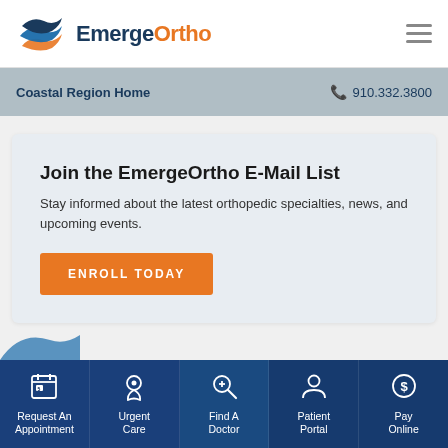[Figure (logo): EmergeOrtho logo with stylized wave icon in blue and orange, text 'EmergeOrtho' with 'Ortho' in orange]
Coastal Region Home  910.332.3800
Join the EmergeOrtho E-Mail List
Stay informed about the latest orthopedic specialties, news, and upcoming events.
ENROLL TODAY
Request An Appointment | Urgent Care | Find A Doctor | Patient Portal | Pay Online